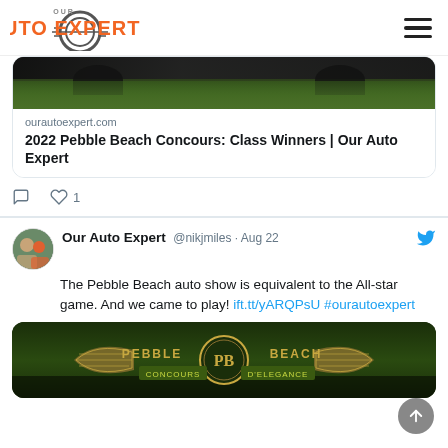Our Auto Expert — navigation header with logo and hamburger menu
[Figure (screenshot): Partial top of a car image (bottom portion of wheels/car body with greenery below), part of a tweet link preview]
ourautoexpert.com
2022 Pebble Beach Concours: Class Winners | Our Auto Expert
♡ 1 (like count with comment icon)
Our Auto Expert @nikjmiles · Aug 22
The Pebble Beach auto show is equivalent to the All-star game. And we came to play! ift.tt/yARQPsU #ourautoexpert
[Figure (photo): Pebble Beach Concours d'Elegance logo/sign with PB emblem, with people visible below]